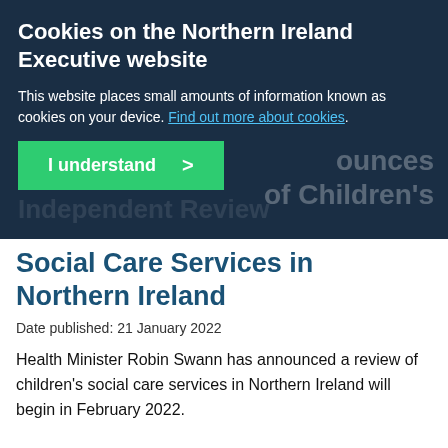Cookies on the Northern Ireland Executive website
This website places small amounts of information known as cookies on your device. Find out more about cookies.
I understand >
Independent Review of Children's Social Care Services in Northern Ireland
Date published: 21 January 2022
Health Minister Robin Swann has announced a review of children's social care services in Northern Ireland will begin in February 2022.